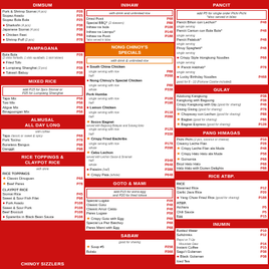DIMSUM
Pork & Shrimp Siomai (4 pcs) P28
Siopao Asado P25
Siopao Bola Bola P25
Sharksfin (4 pcs) P38
Japanese Siomai (4 pcs) P38
Chicken Feet P68
Shrimp Puff (2 pcs) P78
PAMPAGANA
Bola Bola P28
Fried Tofu P28
Lumpiang Shanghai (3 pcs) P38
Tokwa't Baboy P38
MIXED RICE
add P15 for 3pcs Siomai or P25 for Lumpiang Shanghai
Tapa Mix P58
Tosi Mix P58
Aligue Mix P58
Binagoongan Mix P58
ALMUSAL ALL DAY LONG
with coffee
Tapa (classic or sweet & spicy) P68
Pork Tocino P78
Boneless Bangus P98
Danggit P98
RICE TOPPINGS & CLAYPOT RICE
with drink
INIHAW
with drink and unlimited rice
Dried Pusit P68
Special BBQ* (2 skewers) P88
Inihaw na Isda P108
Inihaw na Liempo* P148
Inihaw na Pusit P188
NONG CHINOY'S SPECIALS
with drink & unlimited rice
South China Chicken single serving with rice P88 half P268
Nong Chinoy's Special Chicken single serving with rice P88 whole P338
Pork Humba single serving with rice P108 half P198
Lemon Chicken single serving with rice P118 half P288
Ilocos Bagnet served with Bagoong Balayan and Sukang Iloko single serving with rice P128 half P338
Crispy Fried Backribs single serving with rice P178 whole P298
Cebu Lechon served with Lechon Sauce & Sinamak half P348 whole P648
Patatim (half) P388
Crispy Pata (whole) P648
GOTO & MAMI
add P15 for extra egg and P20 for fried tokwa
Special Lugaw P28
Classic Goto P48
Classic Arroz Caldo P48
Pares Lugaw P58
Crispy Goto with Egg P68
Special La Paz Batchoy P68
Pares Mami with Egg P68
SABAW
good for sharing
Soup #5 P258
Bulalo P368
PANCIT
add P5 for single order Pichi Pichi *also served in bilao
Pancit Bihon con Lechon* single serving P48
Pancit Canton con Bola Bola* single serving P48
Pancit Palabok* single serving P48
Pinoy Spaghetti* single serving P48
Crispy Style Hongkong Noodles single serving P68
Pancit Habhab* single serving P78
Lucky Birthday Noodles good for 8-10 (Fortune Cookie included) P468
GULAY
Adobong Kangkong P38
Kangkong with Bagoong P38
Crispy Kangkong with Dip (good for sharing) P48
Gising Gising (good for sharing) P78
Chopsuey con Lechon (good for sharing) P88
Bagbet (good for sharing) P88
Bagnet Express (good for sharing) P128
PANG HIMAGAS
Pichi Pichi (2 pcs, coconut or cheese) P10
Creamy Leche Flan P28
Crispy Leche Flan ala Mode P48
Crispy Halo Halo ala Mode P58
Guinomia P68
Bicol Halo Halo P68
Halo Halo with Dozen Delights P88
RICE ATBP.
Steamed Rice P12
Garlic Java Rice P20
Yang Chow Fried Rice (good for sharing) P188
Atchara P5
Chili Sauce P5
Egg P15
INUMIN
Bottled Water P10
Softdrinks Pepsi or 7-Up P12 Mountain Dew P16
Instant Coffee P15
Sago't Gulaman P38
Black Gulaman P38
Iced Tea
CHINOY SIZZLERS